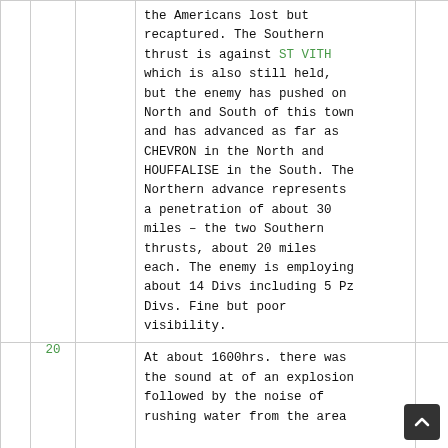|  |  |  | Text |  |
| --- | --- | --- | --- | --- |
|  |  |  | the Americans lost but recaptured. The Southern thrust is against ST VITH which is also still held, but the enemy has pushed on North and South of this town and has advanced as far as CHEVRON in the North and HOUFFALISE in the South. The Northern advance represents a penetration of about 30 miles – the two Southern thrusts, about 20 miles each. The enemy is employing about 14 Divs including 5 Pz Divs. Fine but poor visibility. |  |
|  | 20 |  | At about 1600hrs. there was the sound at of an explosion followed by the noise of rushing water from the area |  |